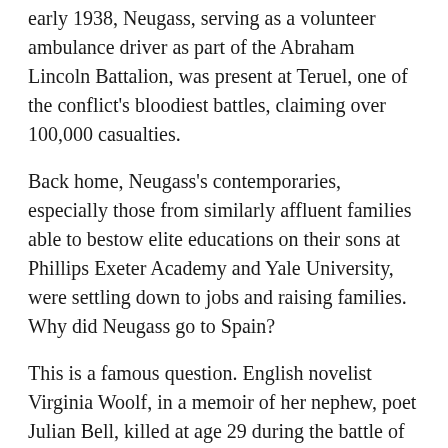early 1938, Neugass, serving as a volunteer ambulance driver as part of the Abraham Lincoln Battalion, was present at Teruel, one of the conflict's bloodiest battles, claiming over 100,000 casualties.
Back home, Neugass's contemporaries, especially those from similarly affluent families able to bestow elite educations on their sons at Phillips Exeter Academy and Yale University, were settling down to jobs and raising families. Why did Neugass go to Spain?
This is a famous question. English novelist Virginia Woolf, in a memoir of her nephew, poet Julian Bell, killed at age 29 during the battle of Brunette, inquired over and over again: “What did he feel about Spain? What made him feel it necessary…to go?….What made him do it?”(1)
Neugass, in his unfinished but mostly poignant